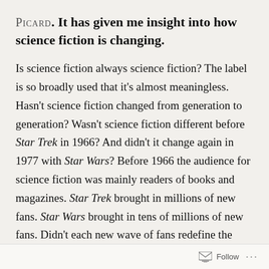PICARD. It has given me insight into how science fiction is changing.
Is science fiction always science fiction? The label is so broadly used that it's almost meaningless. Hasn't science fiction changed from generation to generation? Wasn't science fiction different before Star Trek in 1966? And didn't it change again in 1977 with Star Wars? Before 1966 the audience for science fiction was mainly readers of books and magazines. Star Trek brought in millions of new fans. Star Wars brought in tens of millions of new fans. Didn't each new wave of fans redefine the genre?
Follow